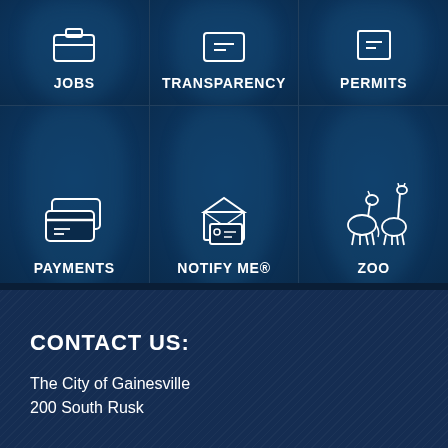[Figure (infographic): City navigation grid with icons: top row shows JOBS, TRANSPARENCY, PERMITS icons with white outline icons on dark navy brushstroke background. Bottom row shows PAYMENTS, NOTIFY ME®, ZOO icons similarly styled.]
CONTACT US:
The City of Gainesville
200 South Rusk